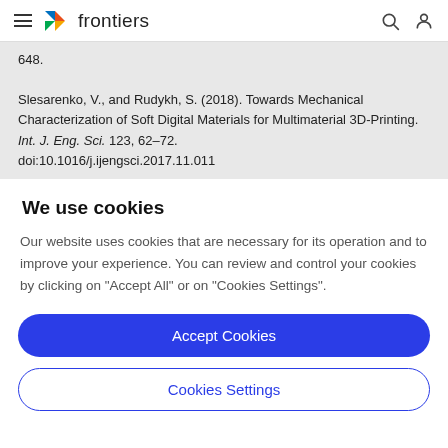frontiers
648.

Slesarenko, V., and Rudykh, S. (2018). Towards Mechanical Characterization of Soft Digital Materials for Multimaterial 3D-Printing. Int. J. Eng. Sci. 123, 62–72. doi:10.1016/j.ijengsci.2017.11.011
We use cookies
Our website uses cookies that are necessary for its operation and to improve your experience. You can review and control your cookies by clicking on "Accept All" or on "Cookies Settings".
Accept Cookies
Cookies Settings